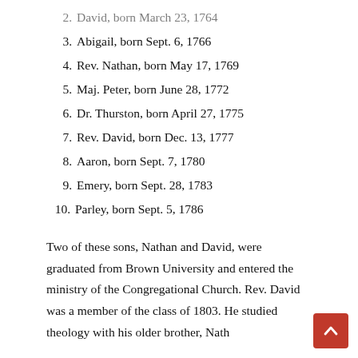2. David, born March 23, 1764
3. Abigail, born Sept. 6, 1766
4. Rev. Nathan, born May 17, 1769
5. Maj. Peter, born June 28, 1772
6. Dr. Thurston, born April 27, 1775
7. Rev. David, born Dec. 13, 1777
8. Aaron, born Sept. 7, 1780
9. Emery, born Sept. 28, 1783
10. Parley, born Sept. 5, 1786
Two of these sons, Nathan and David, were graduated from Brown University and entered the ministry of the Congregational Church. Rev. David was a member of the class of 1803. He studied theology with his older brother, Nath... and Rev. Dr. Emerson and from several years of the